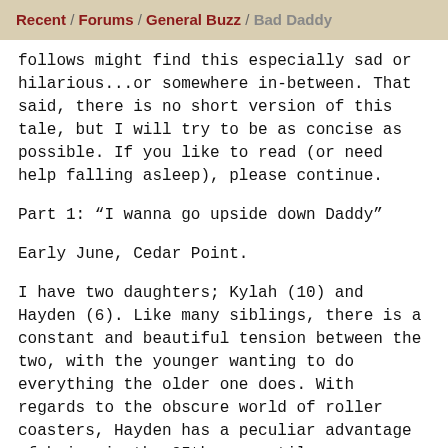Recent / Forums / General Buzz / Bad Daddy
follows might find this especially sad or hilarious...or somewhere in-between. That said, there is no short version of this tale, but I will try to be as concise as possible. If you like to read (or need help falling asleep), please continue.
Part 1: “I wanna go upside down Daddy”
Early June, Cedar Point.
I have two daughters; Kylah (10) and Hayden (6). Like many siblings, there is a constant and beautiful tension between the two, with the younger wanting to do everything the older one does. With regards to the obscure world of roller coasters, Hayden has a peculiar advantage of being in the 95th percentile